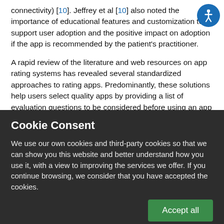connectivity) [10]. Jeffrey et al [10] also noted the importance of educational features and customization to support user adoption and the positive impact on adoption if the app is recommended by the patient's practitioner.
A rapid review of the literature and web resources on app rating systems has revealed several standardized approaches to rating apps. Predominantly, these solutions help users select quality apps by providing a list of evaluation questions to be considered before using an app from the Google Play or Apple Store platforms. Comprehensive rating models provided by the Mobile App Rating
Cookie Consent
We use our own cookies and third-party cookies so that we can show you this website and better understand how you use it, with a view to improving the services we offer. If you continue browsing, we consider that you have accepted the cookies.